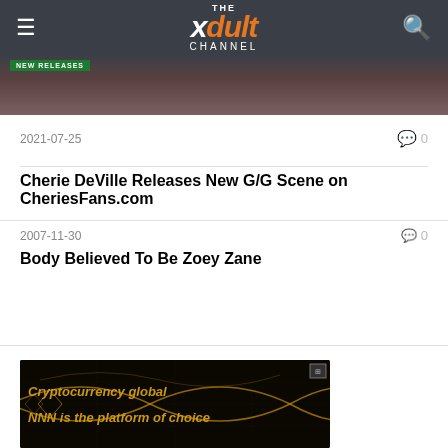THE xdult CHANNEL
[Figure (photo): Partial view of a person, cropped image at top of page]
2021-07-25   💬 0
Cherie DeVille Releases New G/G Scene on CheriesFans.com
2007-11-30   💬 0
Body Believed To Be Zoey Zane
[Figure (infographic): Advertisement banner: Cryptocurrency global NNN is the platform of choice, dark background with gold geometric lines and text]